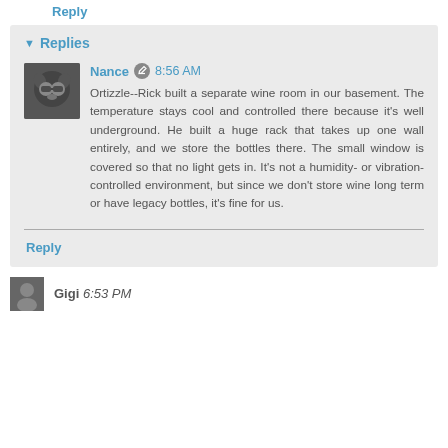Reply
▾ Replies
[Figure (photo): Profile avatar photo of a cat wearing glasses]
Nance 🖊 8:56 AM
Ortizzle--Rick built a separate wine room in our basement. The temperature stays cool and controlled there because it's well underground. He built a huge rack that takes up one wall entirely, and we store the bottles there. The small window is covered so that no light gets in. It's not a humidity- or vibration-controlled environment, but since we don't store wine long term or have legacy bottles, it's fine for us.
Reply
Gigi 6:53 PM